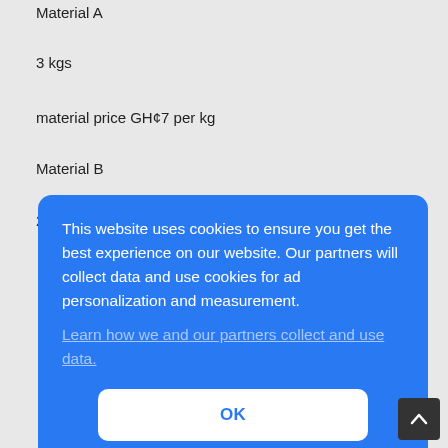Material A
3 kgs
material price GH¢7 per kg
Material B
2 kgs
This website uses cookies to ensure you get the best experience on our website. Our partners will collect data and use cookies for ad personalization and measurement.
Learn how we and our partners collect and use data.
OK